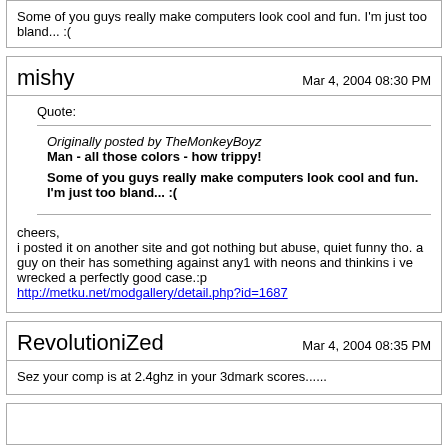Some of you guys really make computers look cool and fun. I'm just too bland... :(
mishy — Mar 4, 2004 08:30 PM
Quote:
Originally posted by TheMonkeyBoyz
Man - all those colors - how trippy!
Some of you guys really make computers look cool and fun. I'm just too bland... :(
cheers,
i posted it on another site and got nothing but abuse, quiet funny tho. a guy on their has something against any1 with neons and thinkins i ve wrecked a perfectly good case.:p
http://metku.net/modgallery/detail.php?id=1687
RevolutioniZed — Mar 4, 2004 08:35 PM
Sez your comp is at 2.4ghz in your 3dmark scores......